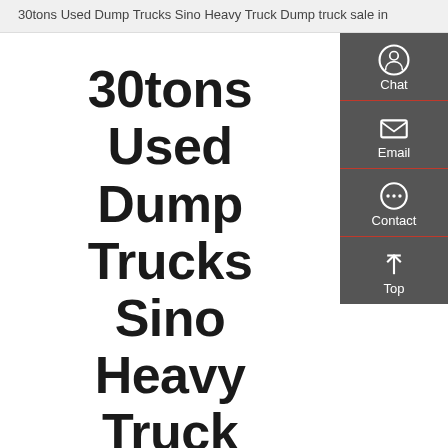30tons Used Dump Trucks Sino Heavy Truck Dump Truck sale in
30tons Used Dump Trucks Sino Heavy Truck Dump Truck Sale In
Other Products
6x4 Dump Truck